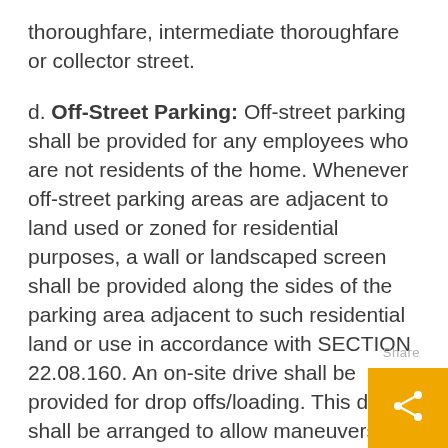thoroughfare, intermediate thoroughfare or collector street.
d. Off-Street Parking: Off-street parking shall be provided for any employees who are not residents of the home. Whenever off-street parking areas are adjacent to land used or zoned for residential purposes, a wall or landscaped screen shall be provided along the sides of the parking area adjacent to such residential land or use in accordance with SECTION 22.08.160. An on-site drive shall be provided for drop offs/loading. This drive shall be arranged to allow maneuvers without affecting traffic flow on the street.
e. Compliance with Zoning Ordinance: The